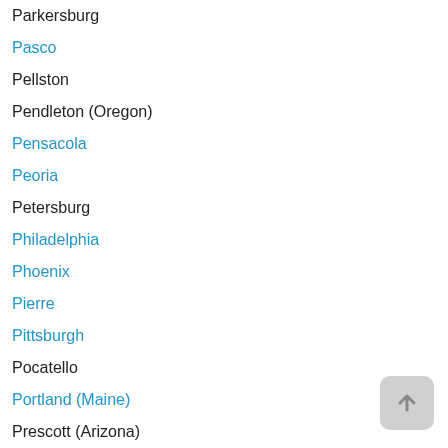Parkersburg
Pasco
Pellston
Pendleton (Oregon)
Pensacola
Peoria
Petersburg
Philadelphia
Phoenix
Pierre
Pittsburgh
Pocatello
Portland (Maine)
Prescott (Arizona)
Providence
Prudhoe Bay / Deadhorse
Pueblo
Pullman
Pulo ng Presque